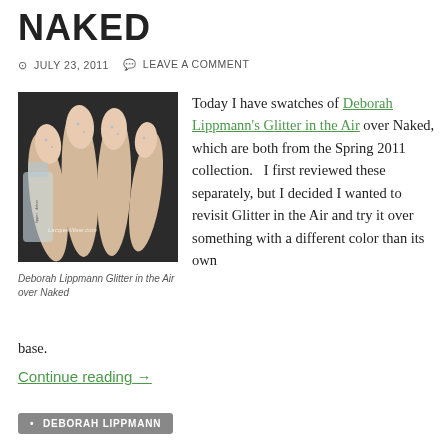NAKED
JULY 23, 2011  LEAVE A COMMENT
[Figure (photo): Close-up photo of fingers with nude/beige nail polish with subtle glitter, holding a Deborah Lippmann nail polish bottle. Watermark: LacquerWear.com]
Deborah Lippmann Glitter in the Air over Naked
Today I have swatches of Deborah Lippmann's Glitter in the Air over Naked, which are both from the Spring 2011 collection.   I first reviewed these separately, but I decided I wanted to revisit Glitter in the Air and try it over something with a different color than its own base.
Continue reading →
• DEBORAH LIPPMANN